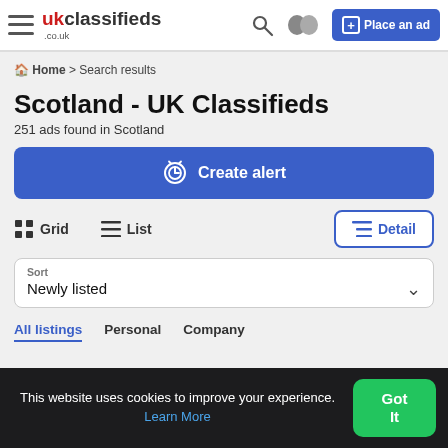ukclassifieds .co.uk — Place an ad
Home > Search results
Scotland - UK Classifieds
251 ads found in Scotland
Create alert
Grid  List  Detail
Sort
Newly listed
All listings   Personal   Company
This website uses cookies to improve your experience. Learn More  Got It